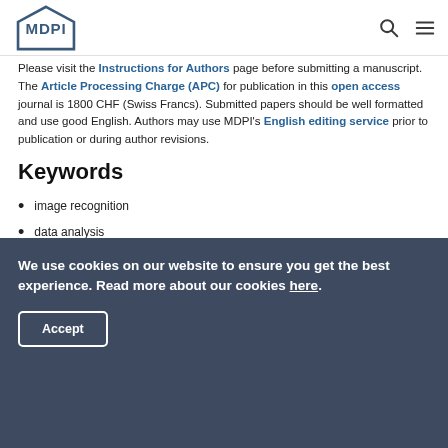MDPI logo, search icon, menu icon
Please visit the Instructions for Authors page before submitting a manuscript. The Article Processing Charge (APC) for publication in this open access journal is 1800 CHF (Swiss Francs). Submitted papers should be well formatted and use good English. Authors may use MDPI's English editing service prior to publication or during author revisions.
Keywords
image recognition
data analysis
deep learning
We use cookies on our website to ensure you get the best experience. Read more about our cookies here.
Accept